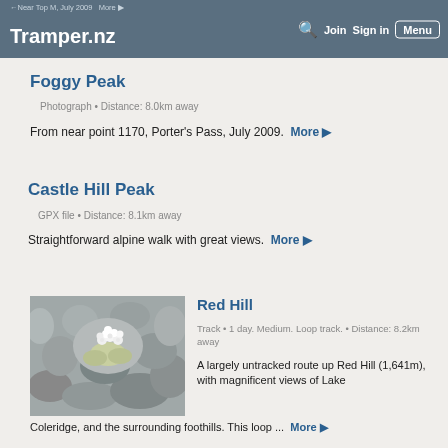Tramper.nz — Near Top M, July 2009 More — Join Sign in Menu
Foggy Peak
Photograph • Distance: 8.0km away
From near point 1170, Porter's Pass, July 2009. More ▶
Castle Hill Peak
GPX file • Distance: 8.1km away
Straightforward alpine walk with great views. More ▶
[Figure (photo): Photo of alpine plant with white flowers among grey rocks]
Red Hill
Track • 1 day. Medium. Loop track. • Distance: 8.2km away
A largely untracked route up Red Hill (1,641m), with magnificent views of Lake Coleridge, and the surrounding foothills. This loop ... More ▶